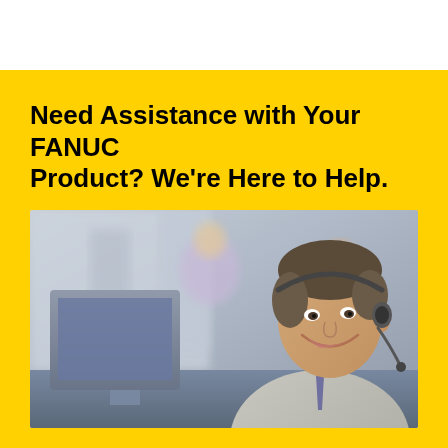Need Assistance with Your FANUC Product? We're Here to Help.
[Figure (photo): A smiling man wearing a headset with microphone, seated at a desk with computer monitors, in a call center or customer support office environment. Other people are visible blurred in the background.]